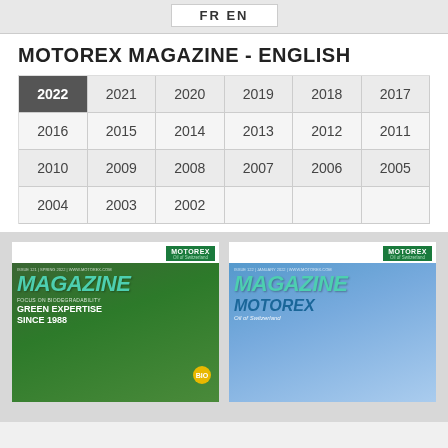FR EN
MOTOREX MAGAZINE - ENGLISH
| 2022 | 2021 | 2020 | 2019 | 2018 | 2017 |
| 2016 | 2015 | 2014 | 2013 | 2012 | 2011 |
| 2010 | 2009 | 2008 | 2007 | 2006 | 2005 |
| 2004 | 2003 | 2002 |  |  |  |
[Figure (photo): Two Motorex Magazine covers side by side. Left cover: green forest background with 'GREEN EXPERTISE SINCE 1988' headline and BIO badge. Right cover: Motorex truck with blue sky background.]